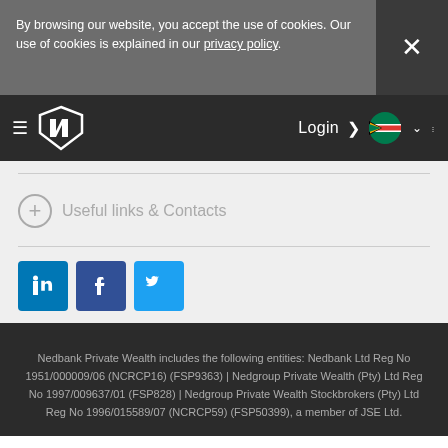By browsing our website, you accept the use of cookies. Our use of cookies is explained in our privacy policy.
[Figure (screenshot): Nedbank Private Wealth website navigation bar with hamburger menu, logo, Login button, South Africa flag dropdown, and vertical dots menu]
Useful links & Contacts
[Figure (illustration): Social media icons: LinkedIn, Facebook, Twitter]
Nedbank Private Wealth includes the following entities: Nedbank Ltd Reg No 1951/000009/06 (NCRCP16) (FSP9363) | Nedgroup Private Wealth (Pty) Ltd Reg No 1997/009637/01 (FSP828) | Nedgroup Private Wealth Stockbrokers (Pty) Ltd Reg No 1996/015589/07 (NCRCP59) (FSP50399), a member of JSE Ltd.